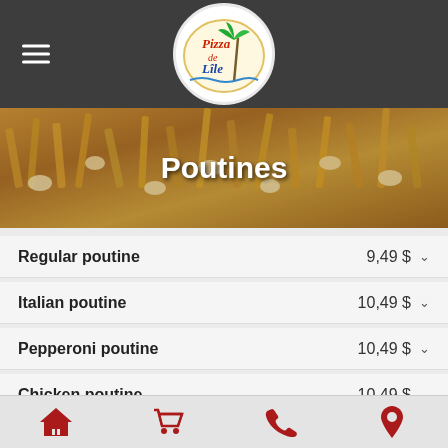Pizza de Lile
[Figure (photo): Hero image of poutine (french fries with cheese curds and gravy) with title 'Poutines' overlaid in white bold text]
Regular poutine 9,49 $
Italian poutine 10,49 $
Pepperoni poutine 10,49 $
Chicken poutine 10,49 $
Home | Cart | Phone | Location